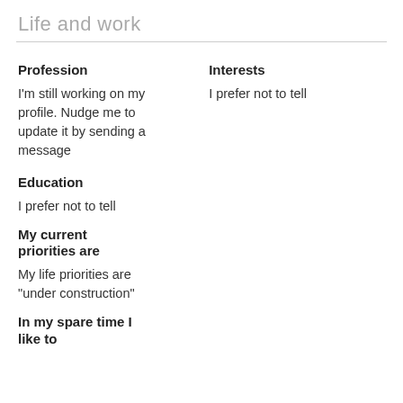Life and work
Profession
I'm still working on my profile. Nudge me to update it by sending a message
Interests
I prefer not to tell
Education
I prefer not to tell
My current priorities are
My life priorities are "under construction"
In my spare time I like to